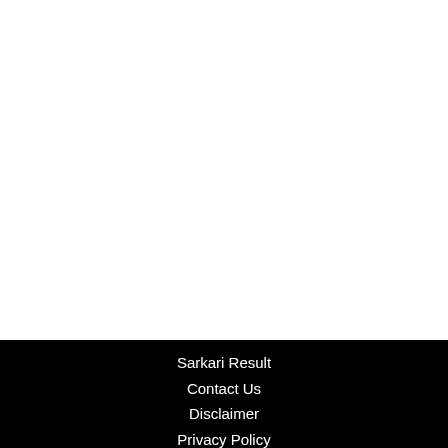Sarkari Result
Contact Us
Disclaimer
Privacy Policy